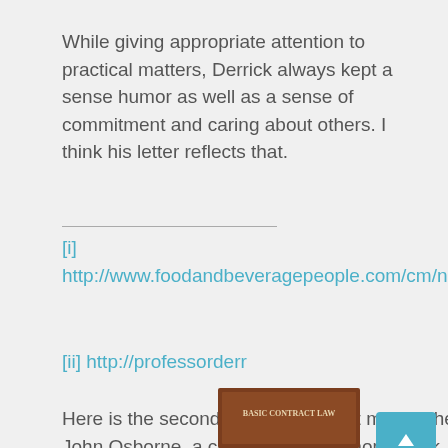While giving appropriate attention to practical matters, Derrick always kept a sense humor as well as a sense of commitment and caring about others. I think his letter reflects that.
[i] http://www.foodandbeveragepeople.com/cm/news/reginald_gilliam_obit
[ii] http://professorderr
Here is the second experience.. Let me set the s by referring to The Paper Chase , a book written by John Osborne, a classmate with whom I took
[Figure (photo): Book cover: Basic Contract Law]